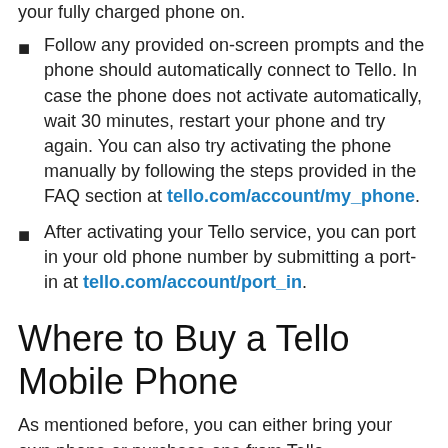your fully charged phone on.
Follow any provided on-screen prompts and the phone should automatically connect to Tello. In case the phone does not activate automatically, wait 30 minutes, restart your phone and try again. You can also try activating the phone manually by following the steps provided in the FAQ section at tello.com/account/my_phone.
After activating your Tello service, you can port in your old phone number by submitting a port-in at tello.com/account/port_in.
Where to Buy a Tello Mobile Phone
As mentioned before, you can either bring your own phone or purchase one from Tello.